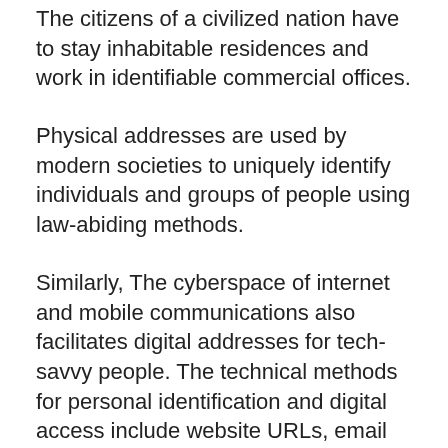The citizens of a civilized nation have to stay inhabitable residences and work in identifiable commercial offices.
Physical addresses are used by modern societies to uniquely identify individuals and groups of people using law-abiding methods.
Similarly, The cyberspace of internet and mobile communications also facilitates digital addresses for tech-savvy people. The technical methods for personal identification and digital access include website URLs, email ID, social media accounts, and IP addresses.
The term eLoc or eLocation refers to an electronic location or a digital addressing system for identification of physical or postal addresses.